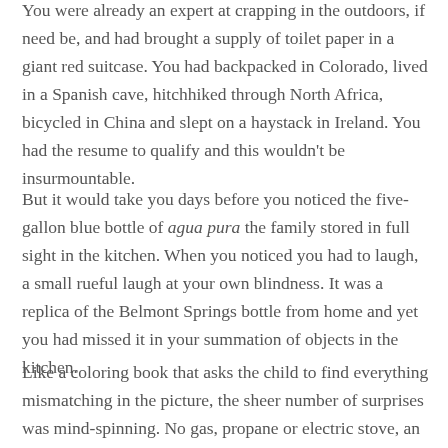You were already an expert at crapping in the outdoors, if need be, and had brought a supply of toilet paper in a giant red suitcase. You had backpacked in Colorado, lived in a Spanish cave, hitchhiked through North Africa, bicycled in China and slept on a haystack in Ireland. You had the resume to qualify and this wouldn't be insurmountable.
But it would take you days before you noticed the five-gallon blue bottle of agua pura the family stored in full sight in the kitchen. When you noticed you had to laugh, a small rueful laugh at your own blindness. It was a replica of the Belmont Springs bottle from home and yet you had missed it in your summation of objects in the kitchen.
Like a coloring book that asks the child to find everything mismatching in the picture, the sheer number of surprises was mind-spinning. No gas, propane or electric stove, an unplugged empty refrigerator, no spigot of running water and the buzzing